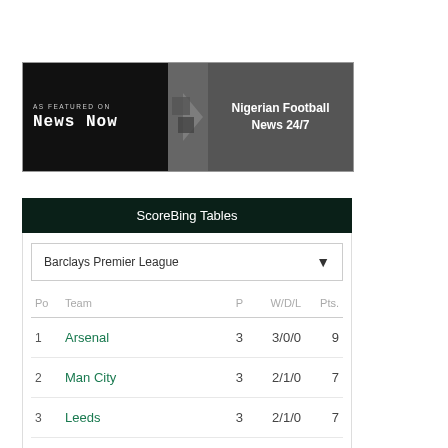[Figure (other): News Now banner ad: 'AS FEATURED ON News NOW' on dark left panel, chevron graphic in center, 'Nigerian Football News 24/7' on grey right panel]
| Po | Team | P | W/D/L | Pts. |
| --- | --- | --- | --- | --- |
| 1 | Arsenal | 3 | 3/0/0 | 9 |
| 2 | Man City | 3 | 2/1/0 | 7 |
| 3 | Leeds | 3 | 2/1/0 | 7 |
| 3 | Tottenham | 3 | 2/1/0 | 7 |
| 5 | Brighton | 3 | 2/1/0 | 7 |